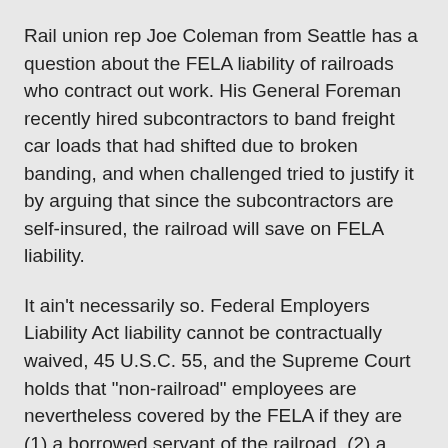Rail union rep Joe Coleman from Seattle has a question about the FELA liability of railroads who contract out work. His General Foreman recently hired subcontractors to band freight car loads that had shifted due to broken banding, and when challenged tried to justify it by arguing that since the subcontractors are self-insured, the railroad will save on FELA liability.
It ain't necessarily so. Federal Employers Liability Act liability cannot be contractually waived, 45 U.S.C. 55, and the Supreme Court holds that "non-railroad" employees are nevertheless covered by the FELA if they are (1) a borrowed servant of the railroad, (2) a servant acting for two masters simultaneously, or (3) a subservant of a company that was in turn a servant of the railroad. Kelly v Southern Pacific Co